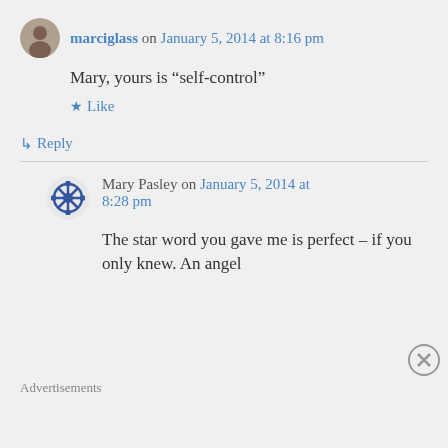marciglass on January 5, 2014 at 8:16 pm
Mary, yours is “self-control”
★ Like
↳ Reply
Mary Pasley on January 5, 2014 at 8:28 pm
The star word you gave me is perfect – if you only knew. An angel
Advertisements